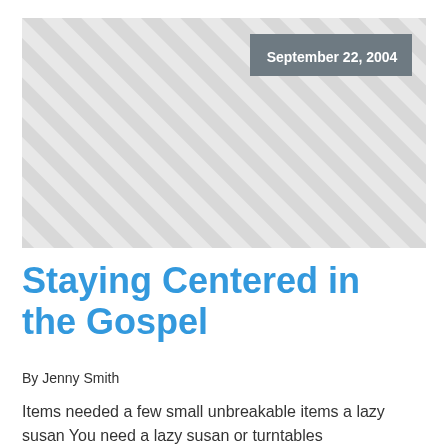[Figure (illustration): Diagonal stripe pattern placeholder image with a dark grey badge showing the date September 22, 2004 in the upper right corner.]
Staying Centered in the Gospel
By Jenny Smith
Items needed a few small unbreakable items a lazy susan You need a lazy susan or turntables